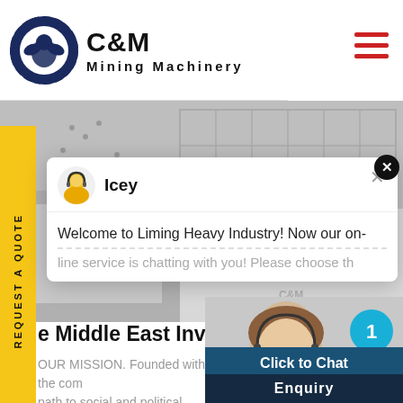[Figure (logo): C&M Mining Machinery logo with eagle gear circle emblem on left and bold text 'C&M Mining Machinery' on right]
[Figure (illustration): Hamburger menu icon (three horizontal red lines) in top right corner]
[Figure (photo): Industrial mining machinery equipment photo in background banner]
[Figure (screenshot): Live chat popup with agent named 'Icey', showing message 'Welcome to Liming Heavy Industry! Now our on-line service is chatting with you! Please choose th...']
[Figure (photo): Customer service representative with headset smiling, with blue badge showing '1']
REQUEST A QUOTE
e Middle East Investm
OUR MISSION. Founded with the com path to social and political stability
Click to Chat
Enquiry